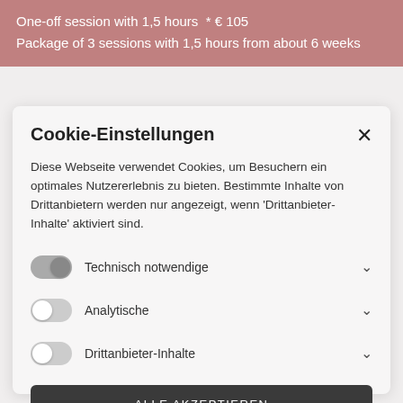One-off session with 1,5 hours  * € 105
Package of 3 sessions with 1,5 hours from about 6 weeks
Cookie-Einstellungen
Diese Webseite verwendet Cookies, um Besuchern ein optimales Nutzererlebnis zu bieten. Bestimmte Inhalte von Drittanbietern werden nur angezeigt, wenn 'Drittanbieter-Inhalte' aktiviert sind.
Technisch notwendige
Analytische
Drittanbieter-Inhalte
ALLE AKZEPTIEREN
SPEICHERN